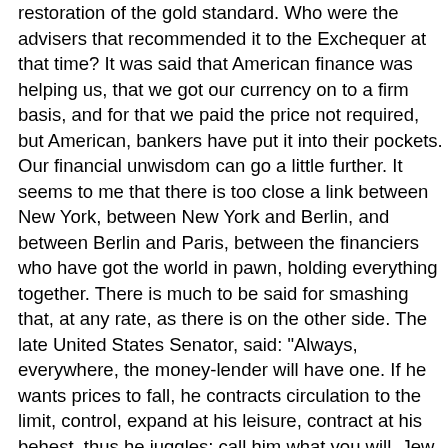restoration of the gold standard. Who were the advisers that recommended it to the Exchequer at that time? It was said that American finance was helping us, that we got our currency on to a firm basis, and for that we paid the price not required, but American, bankers have put it into their pockets. Our financial unwisdom can go a little further. It seems to me that there is too close a link between New York, between New York and Berlin, and between Berlin and Paris, between the financiers who have got the world in pawn, holding everything together. There is much to be said for smashing that, at any rate, as there is on the other side. The late United States Senator, said: "Always, everywhere, the money-lender will have one. If he wants prices to fall, he contracts circulation to the limit, control, expand at his leisure, contract at his behest, thus he juggles; call him what you will, Jew or Gentile, he is the identical creature that dominates every country, puts greed above the promptings of patriotism or humanity or justice, and Abraham Lincoln said he ought to have his infernal head shot off, and Lincoln was perfectly right, as he was in many other things that he said. We have discussed and have brought before this House the condition of the people in a constituency in which 81 per cent. of the available men are unemployed. What juggling with currency will do for them. Will it bring them work, or give them value at all? Juggle with these things as you will; all your talk of marvellous manœuvrings leaves them cold. It is time that we told them that the State controlled it. I am less afraid of the State than I a